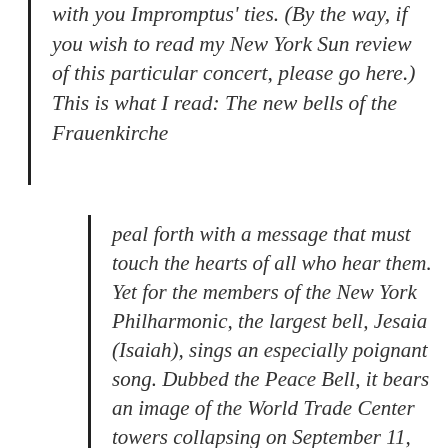with you Impromptus' ties. (By the way, if you wish to read my New York Sun review of this particular concert, please go here.) This is what I read: The new bells of the Frauenkirche
peal forth with a message that must touch the hearts of all who hear them. Yet for the members of the New York Philharmonic, the largest bell, Jesaia (Isaiah), sings an especially poignant song. Dubbed the Peace Bell, it bears an image of the World Trade Center towers collapsing on September 11, 2001, accompanied by the words from the Book of Isaiah (II, 4): “Sie werden